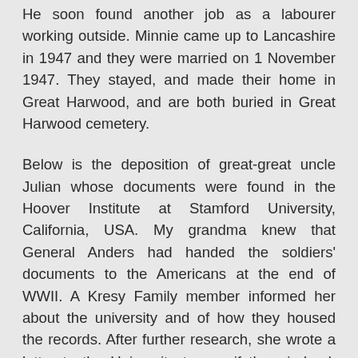He soon found another job as a labourer working outside. Minnie came up to Lancashire in 1947 and they were married on 1 November 1947. They stayed, and made their home in Great Harwood, and are both buried in Great Harwood cemetery.
Below is the deposition of great-great uncle Julian whose documents were found in the Hoover Institute at Stamford University, California, USA. My grandma knew that General Anders had handed the soldiers' documents to the Americans at the end of WWII. A Kresy Family member informed her about the university and of how they housed the records. After further research, she wrote a letter to the University to see if they, indeed, had any documents relating to Julian. They had, and so sent them to her. Below is the English translation of Julian's deposition transcribed into English. It is not perfect